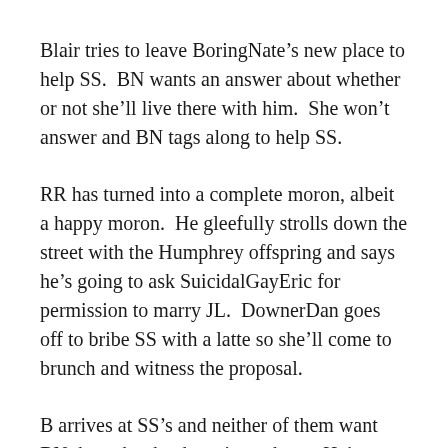Blair tries to leave BoringNate’s new place to help SS.  BN wants an answer about whether or not she’ll live there with him.  She won’t answer and BN tags along to help SS.
RR has turned into a complete moron, albeit a happy moron.  He gleefully strolls down the street with the Humphrey offspring and says he’s going to ask SuicidalGayEric for permission to marry JL.  DownerDan goes off to bribe SS with a latte so she’ll come to brunch and witness the proposal.
B arrives at SS’s and neither of them want BN there, but he doesn’t catch on.  He’s so pretty.  B and SS say that feelings for boys make them do silly things.